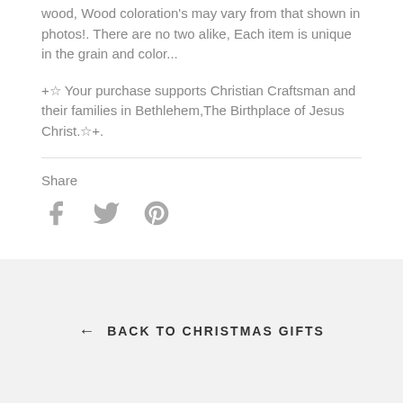wood, Wood coloration's may vary from that shown in photos!. There are no two alike, Each item is unique in the grain and color...
+☆ Your purchase supports Christian Craftsman and their families in Bethlehem,The Birthplace of Jesus Christ.☆+.
Share
[Figure (other): Social share icons: Facebook (f), Twitter (bird), Pinterest (P)]
← BACK TO CHRISTMAS GIFTS